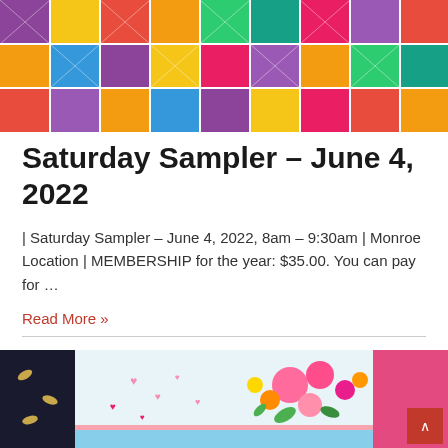[Figure (photo): Colorful quilt with patchwork blocks in purple, yellow, red, teal, and multicolor patterns on a white/grey background]
Saturday Sampler – June 4, 2022
| Saturday Sampler – June 4, 2022, 8am – 9:30am | Monroe Location | MEMBERSHIP for the year: $35.00. You can pay for …
Read More »
[Figure (photo): Quilt or fabric with floral design showing pink roses and flowers on white/blue background, flanked by dark fabric with gold birds pattern and pink floral fabric]